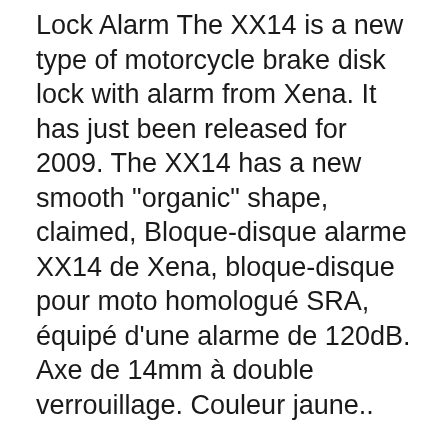Lock Alarm The XX14 is a new type of motorcycle brake disk lock with alarm from Xena. It has just been released for 2009. The XX14 has a new smooth "organic" shape, claimed, Bloque-disque alarme XX14 de Xena, bloque-disque pour moto homologué SRA, équipé d'une alarme de 120dB. Axe de 14mm à double verrouillage. Couleur jaune..
Les meilleures offres pour Xena XX-6 Motorcycle Disc Lock with Alarm - Yellow XX6 XX-6-Y 10-0102 sont sur eBay Comparez les prix et les spécificités des produits neufs et d'occasion Pleins d'articles en livraison gratuite! Xena XX6 Alarmed Disc Lock – 6mm Pin Pushdown locking system 6mm steel